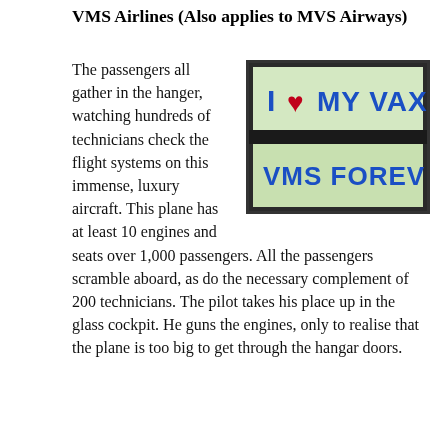VMS Airlines (Also applies to MVS Airways)
[Figure (photo): Two bumper stickers: top one reads 'I ❤ MY VAX' in blue bold text on light green background; bottom one reads 'VMS FOREVER' in blue bold text on light green background, both within a dark border frame.]
The passengers all gather in the hanger, watching hundreds of technicians check the flight systems on this immense, luxury aircraft. This plane has at least 10 engines and seats over 1,000 passengers. All the passengers scramble aboard, as do the necessary complement of 200 technicians. The pilot takes his place up in the glass cockpit. He guns the engines, only to realise that the plane is too big to get through the hangar doors.